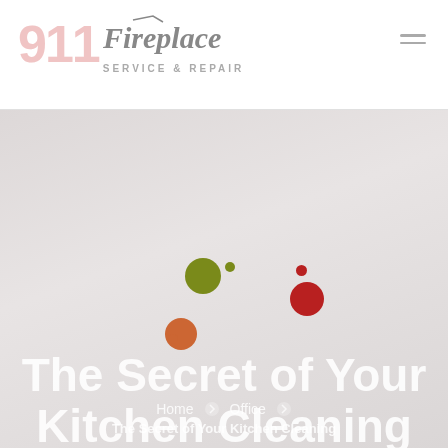911 Fireplace SERVICE & REPAIR
[Figure (illustration): Hero banner with light grey textured background, decorative colored dots (olive green, dark red, orange), and large white bold title text. Breadcrumb navigation at bottom showing Home > Office > The Secret of Your Kitchen Cleaning.]
The Secret of Your Kitchen Cleaning
Home  ❯  Office  ❯
The Secret of Your Kitchen Cleaning